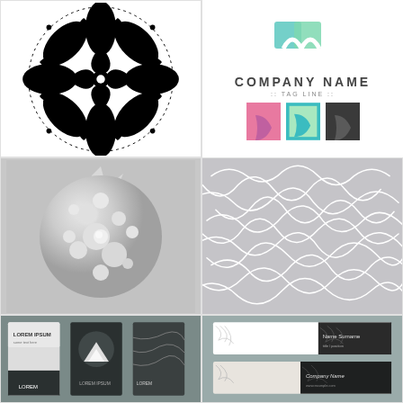[Figure (illustration): Black and white ornamental mandala/snowflake pattern with intricate floral and scroll motifs, dotted border elements]
[Figure (logo): Company logo with teal geometric bird/abstract shape at top, text 'COMPANY NAME' in bold uppercase and ':: TAG LINE ::' below, plus three color variant squares showing the logo mark in pink/purple, teal/green, and black/dark gray]
[Figure (illustration): 3D embossed white mandala ornament with floral and circular relief patterns on gray background]
[Figure (illustration): Gray background with abstract white squiggly looping line pattern, seamless texture]
[Figure (illustration): Dark themed business card set mockup with three cards: white card with 'LOREM IPSUM' text, dark card with circular mountain illustration and 'LOREM' text, and dark card with flowing abstract lines and 'LOREM' text at bottom]
[Figure (illustration): Light-gray themed business card horizontal mockup set showing two horizontal cards with contour line nature illustrations and 'Name Surname', 'Company Name' text labels]